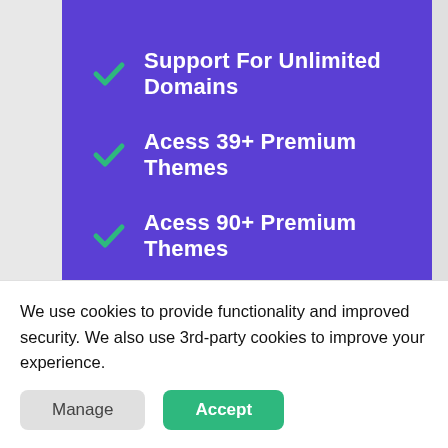Support For Unlimited Domains
Acess 39+ Premium Themes
Acess 90+ Premium Themes
Access All Premium Plugins
Priority Feature Requests
Unlimited Premium Updates
Unlimited Premium Support
READ MORE
We use cookies to provide functionality and improved security. We also use 3rd-party cookies to improve your experience.
Manage
Accept